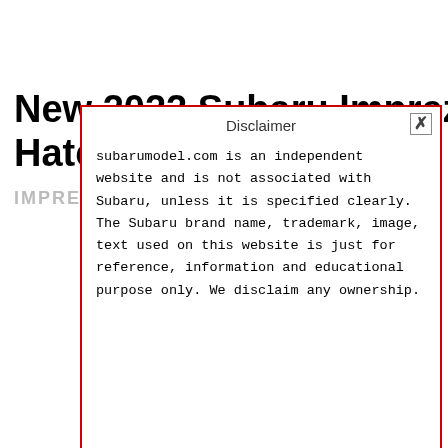New 2022 Subaru Impreza Sedan, Hatchback
IMPREZ
Disclaimer
subarumodel.com is an independent website and is not associated with Subaru, unless it is specified clearly. The Subaru brand name, trademark, image, text used on this website is just for reference, information and educational purpose only. We disclaim any ownership.